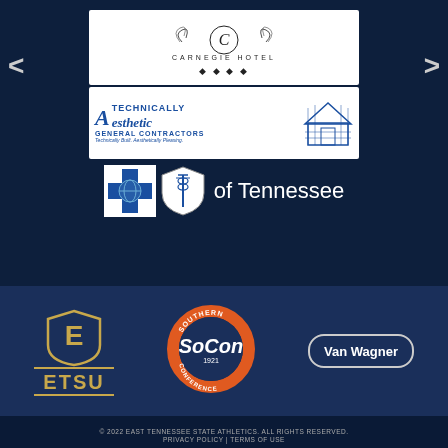[Figure (logo): Carnegie Hotel logo — ornate C in circle with decorative scrollwork, text CARNEGIE HOTEL below with star row]
[Figure (logo): A Technically Aesthetic General Contractors logo — blue italic A with TECHNICALLY text, esthetic in italic, GENERAL CONTRACTORS, Technically Built, Aesthetically Pleasing tagline, house illustration on right]
[Figure (logo): Blue Cross Blue Shield of Tennessee logo — white cross with globe icon and white shield with caduceus, text 'of Tennessee']
[Figure (logo): ETSU (East Tennessee State University) logo — gold E in shield, gold ETSU text with gold lines]
[Figure (logo): SoCon Southern Conference logo — orange and navy circular badge with SOCON, 1921, CONFERENCE text]
[Figure (logo): Van Wagner logo — white text in rounded rectangle outline]
© 2022 EAST TENNESSEE STATE ATHLETICS. ALL RIGHTS RESERVED. PRIVACY POLICY | TERMS OF USE
[Figure (logo): Streamline logo — white bold italic STREAMLINE text with underline brand text]